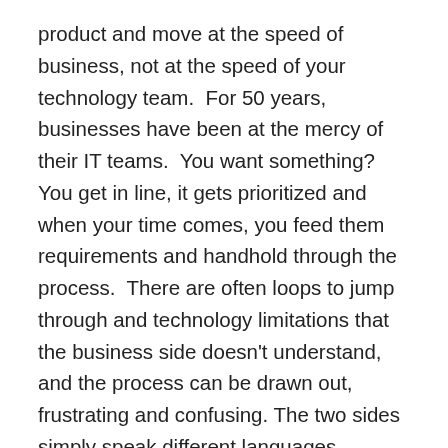product and move at the speed of business, not at the speed of your technology team.  For 50 years, businesses have been at the mercy of their IT teams.  You want something?  You get in line, it gets prioritized and when your time comes, you feed them requirements and handhold through the process.  There are often loops to jump through and technology limitations that the business side doesn't understand, and the process can be drawn out, frustrating and confusing. The two sides simply speak different languages.
In the Words of Vanilla Ice… “If there is a problem, yo I’ll solve it”